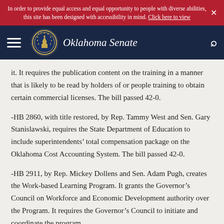In order to provide equal access and equal opportunity to people with diverse abilities, this site has been designed with accessibility in mind. Click here to view
[Figure (logo): Oklahoma Senate navigation bar with hamburger menu, state seal, site title 'Oklahoma Senate', and search icon on dark navy background]
it. It requires the publication content on the training in a manner that is likely to be read by holders of or people training to obtain certain commercial licenses. The bill passed 42-0.
-HB 2860, with title restored, by Rep. Tammy West and Sen. Gary Stanislawski, requires the State Department of Education to include superintendents' total compensation package on the Oklahoma Cost Accounting System. The bill passed 42-0.
-HB 2911, by Rep. Mickey Dollens and Sen. Adam Pugh, creates the Work-based Learning Program. It grants the Governor's Council on Workforce and Economic Development authority over the Program. It requires the Governor's Council to initiate and coordinate the program